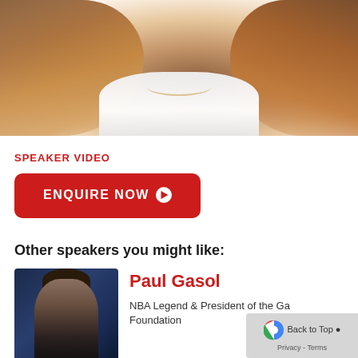[Figure (photo): Close-up photo of a woman with long auburn/brown hair wearing a white blouse, visible necklace, cropped at the neck/chest area]
SPEAKER VIDEO
[Figure (other): Red rounded rectangle button with text ENQUIRE NOW and a play/arrow circle icon]
Other speakers you might like:
[Figure (photo): Headshot of a young man in a dark suit against a blue background - Paul Gasol speaker profile photo]
Paul Gasol
NBA Legend & President of the Gasol Foundation